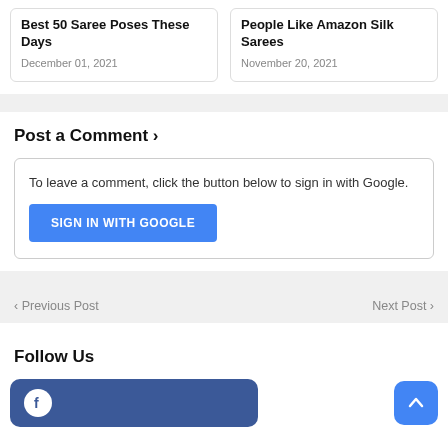Best 50 Saree Poses These Days
December 01, 2021
People Like Amazon Silk Sarees
November 20, 2021
Post a Comment ›
To leave a comment, click the button below to sign in with Google.
SIGN IN WITH GOOGLE
‹ Previous Post
Next Post ›
Follow Us